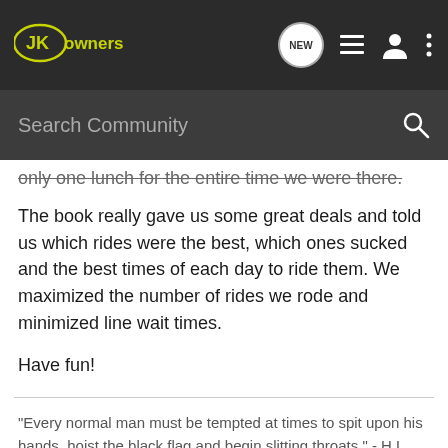JKOwners - Search Community nav bar
only one lunch for the entire time we were there.
The book really gave us some great deals and told us which rides were the best, which ones sucked and the best times of each day to ride them. We maximized the number of rides we rode and minimized line wait times.
Have fun!
"Every normal man must be tempted at times to spit upon his hands, hoist the black flag and begin slitting throats." - H.L. Mencken
[Figure (screenshot): Chevrolet advertisement banner: THE NEW 2022 SILVERADO. with Explore button and Chevrolet logo]